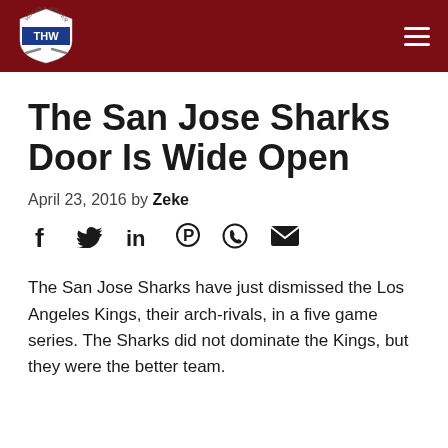THW (The Hockey Writers)
The San Jose Sharks Door Is Wide Open
April 23, 2016 by Zeke
[Figure (infographic): Social media sharing icons: Facebook, Twitter, LinkedIn, Pinterest, WhatsApp, Email]
The San Jose Sharks have just dismissed the Los Angeles Kings, their arch-rivals, in a five game series. The Sharks did not dominate the Kings, but they were the better team.